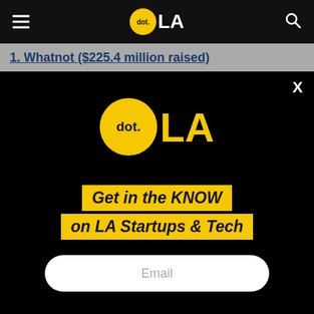[Figure (logo): dot.LA logo in navigation bar — yellow circle with 'dot.' text and 'LA' in white, hamburger menu on left, search icon on right, black background]
1. Whatnot ($225.4 million raised)
[Figure (logo): Large dot.LA logo on black background — yellow circle with 'dot.' text and 'LA' in yellow bold letters]
Get in the KNOW on LA Startups & Tech
Email